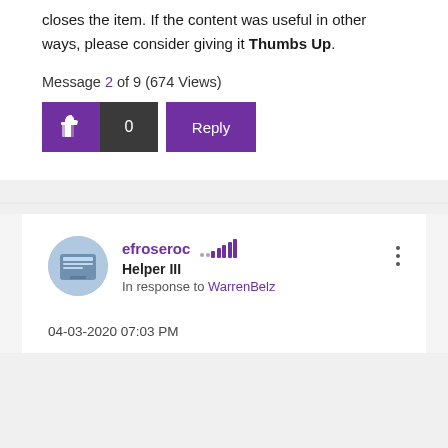closes the item. If the content was useful in other ways, please consider giving it Thumbs Up.
Message 2 of 9 (674 Views)
[Figure (other): Thumbs up button with count 0 and Reply button]
efroseroc Helper III In response to WarrenBelz 04-03-2020 07:03 PM